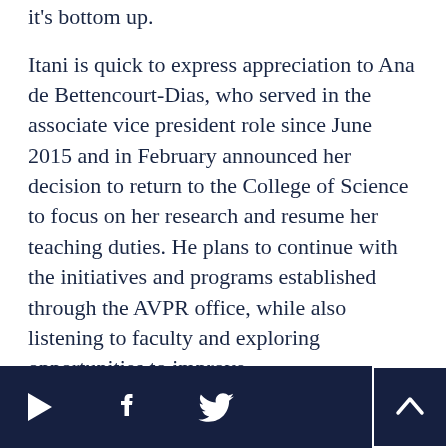it's bottom up.
Itani is quick to express appreciation to Ana de Bettencourt-Dias, who served in the associate vice president role since June 2015 and in February announced her decision to return to the College of Science to focus on her research and resume her teaching duties. He plans to continue with the initiatives and programs established through the AVPR office, while also listening to faculty and exploring opportunities to improve.
[navigation footer with forward arrow, Facebook icon, Twitter icon, and back-to-top button]